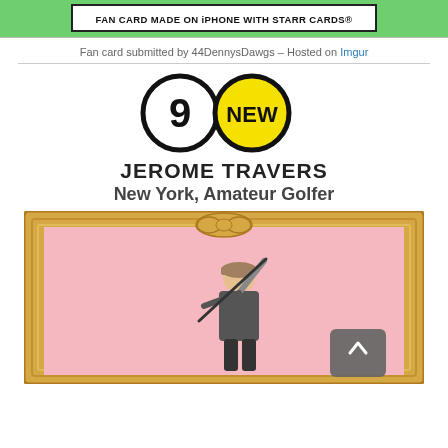[Figure (screenshot): Green banner with white box reading 'FAN CARD MADE ON iPHONE WITH STARR CARDS®']
Fan card submitted by 44DennysDawgs – Hosted on Imgur
[Figure (infographic): Two circular badges: a white circle with '9' and a yellow circle with 'NEW']
JEROME TRAVERS
New York, Amateur Golfer
[Figure (photo): Gold ornate picture frame containing a pink-background photo of Jerome Travers swinging a golf club, wearing a cap and suit. A grey scroll-to-top button is overlaid at bottom right.]